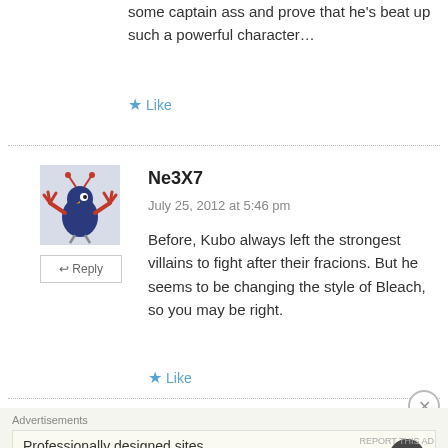some captain ass and prove that he's beat up such a powerful character…
★ Like
Ne3X7
July 25, 2012 at 5:46 pm
Before, Kubo always left the strongest villains to fight after their fracions. But he seems to be changing the style of Bleach, so you may be right.
★ Like
Advertisements
Professionally designed sites in less than a week